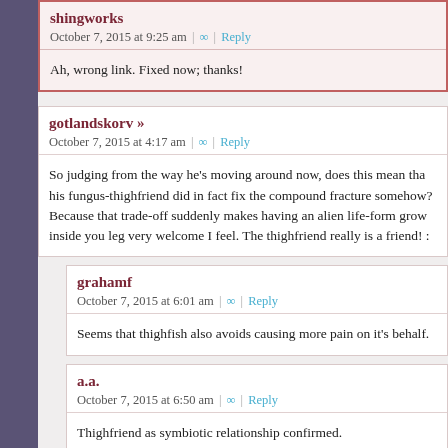shingworks
October 7, 2015 at 9:25 am | ∞ | Reply
Ah, wrong link. Fixed now; thanks!
gotlandskorv »
October 7, 2015 at 4:17 am | ∞ | Reply
So judging from the way he's moving around now, does this mean that his fungus-thighfriend did in fact fix the compound fracture somehow? Because that trade-off suddenly makes having an alien life-form grow inside you leg very welcome I feel. The thighfriend really is a friend! :
grahamf
October 7, 2015 at 6:01 am | ∞ | Reply
Seems that thighfish also avoids causing more pain on it's behalf.
a.a.
October 7, 2015 at 6:50 am | ∞ | Reply
Thighfriend as symbiotic relationship confirmed.